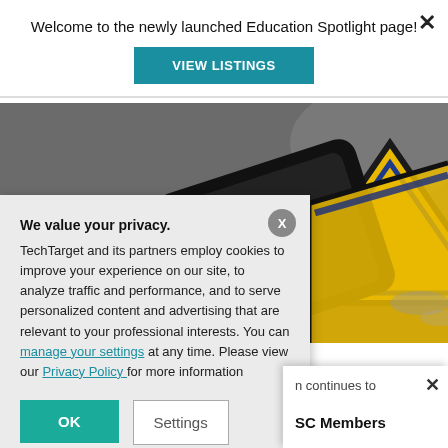Welcome to the newly launched Education Spotlight page!
VIEW LISTINGS
[Figure (photo): Close-up photograph of a yellow and black triangular road sign and a smartphone, on a blurred outdoor background.]
We value your privacy.
TechTarget and its partners employ cookies to improve your experience on our site, to analyze traffic and performance, and to serve personalized content and advertising that are relevant to your professional interests. You can manage your settings at any time. Please view our Privacy Policy for more information
OK
Settings
SC Members